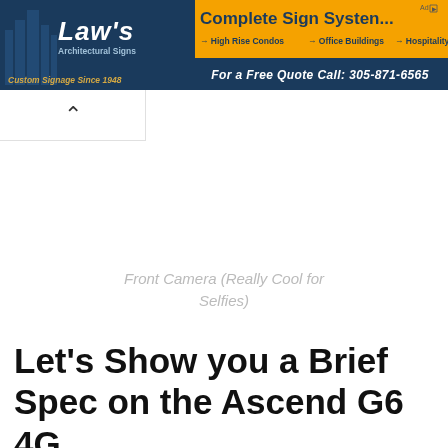[Figure (other): Law's Architectural Signs advertisement banner with dark navy background on left showing city skyline silhouette and the Law's logo, and orange background on right with Complete Sign Systems text, arrows to High Rise Condos, Office Buildings, Hospitality, and phone number 305-871-6565]
[Figure (other): Collapsed navigation/accordion element showing an upward caret arrow on a white background]
Front Camera (Really Cool for Selfies)
Let’s Show you a Brief Spec on the Ascend G6 4G